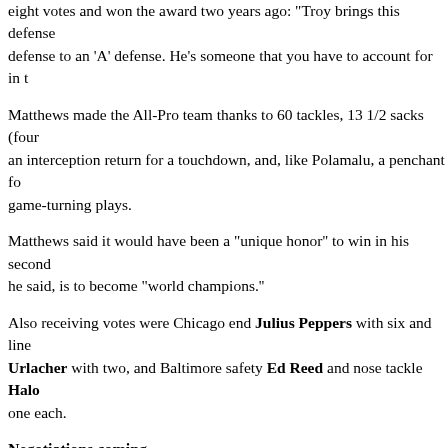eight votes and won the award two years ago: "Troy brings this defense defense to an 'A' defense. He's someone that you have to account for in t
Matthews made the All-Pro team thanks to 60 tackles, 13 1/2 sacks (four an interception return for a touchdown, and, like Polamalu, a penchant fo game-turning plays.
Matthews said it would have been a "unique honor" to win in his second he said, is to become "world champions."
Also receiving votes were Chicago end Julius Peppers with six and line Urlacher with two, and Baltimore safety Ed Reed and nose tackle Halo one each.
Negotiations coming
Commissioner Roger Goodell and union executive director DeMaurice New York about labor negotiations. According to a joint statement from t union, Goodell and Smith spoke about "a range of issues related to a new bargaining agreement."
They agreed to have a formal bargaining session with both negotiating te Dallas area on Saturday. The sides have not had a full-group negotiation
Goodell and Smith also got a conversation from time in the area is also